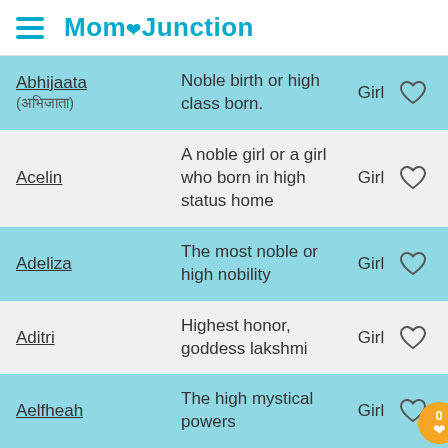MomJunction
| Name | Meaning | Gender |  |
| --- | --- | --- | --- |
| Abhijaata (अभिजाता) | Noble birth or high class born. | Girl | ♡ |
| Acelin | A noble girl or a girl who born in high status home | Girl | ♡ |
| Adeliza | The most noble or high nobility | Girl | ♡ |
| Aditri | Highest honor, goddess lakshmi | Girl | ♡ |
| Aelfheah | The high mystical powers | Girl | ♡ |
ADVERTISEMENT